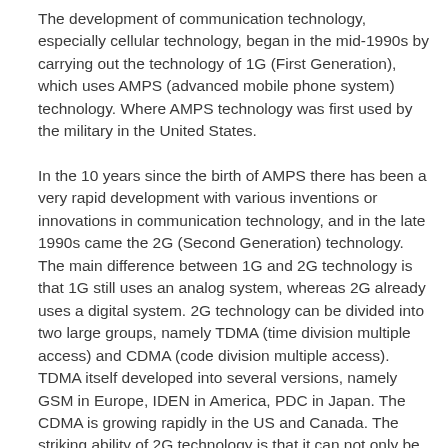The development of communication technology, especially cellular technology, began in the mid-1990s by carrying out the technology of 1G (First Generation), which uses AMPS (advanced mobile phone system) technology. Where AMPS technology was first used by the military in the United States.
In the 10 years since the birth of AMPS there has been a very rapid development with various inventions or innovations in communication technology, and in the late 1990s came the 2G (Second Generation) technology. The main difference between 1G and 2G technology is that 1G still uses an analog system, whereas 2G already uses a digital system. 2G technology can be divided into two large groups, namely TDMA (time division multiple access) and CDMA (code division multiple access). TDMA itself developed into several versions, namely GSM in Europe, IDEN in America, PDC in Japan. The CDMA is growing rapidly in the US and Canada. The striking ability of 2G technology is that it can not only be used for telephone (voice), but also for sending SMS (short mes sage service) that is sending short messages using text.